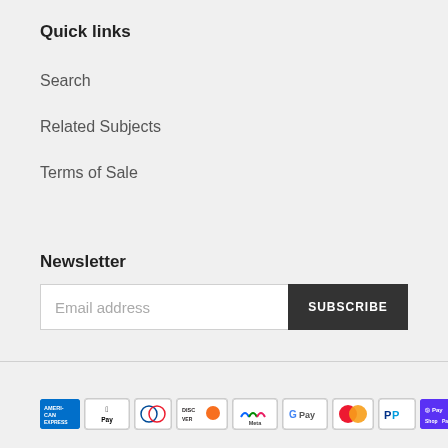Quick links
Search
Related Subjects
Terms of Sale
Newsletter
Email address  SUBSCRIBE
[Figure (other): Payment method icons: American Express, Apple Pay, Diners Club, Discover, Meta Pay, Google Pay, Mastercard, PayPal, Shop Pay]